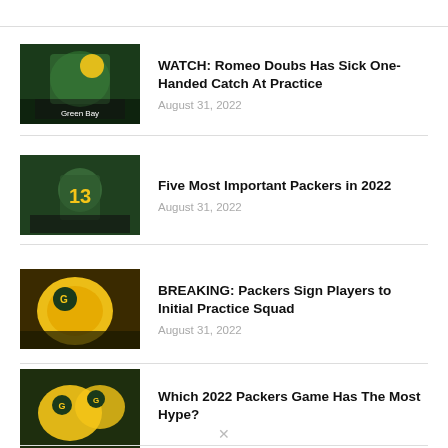WATCH: Romeo Doubs Has Sick One-Handed Catch At Practice — August 31, 2022
Five Most Important Packers in 2022 — August 31, 2022
BREAKING: Packers Sign Players to Initial Practice Squad — August 31, 2022
Which 2022 Packers Game Has The Most Hype?